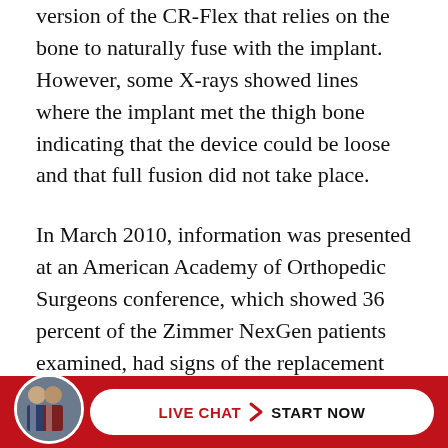version of the CR-Flex that relies on the bone to naturally fuse with the implant. However, some X-rays showed lines where the implant met the thigh bone indicating that the device could be loose and that full fusion did not take place.
In March 2010, information was presented at an American Academy of Orthopedic Surgeons conference, which showed 36 percent of the Zimmer NexGen patients examined, had signs of the replacement knee loosening in less then 3 years. The study also found that just about 9 percent of those patients examined after 2 years actually required revision... loosening